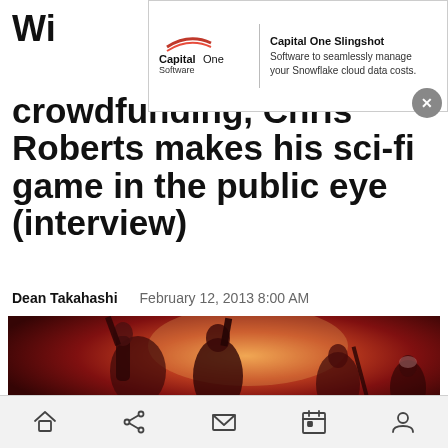[Figure (screenshot): Capital One Slingshot advertisement banner with Capital One Software logo and text: 'Capital One Slingshot - Software to seamlessly manage your Snowflake cloud data costs.' with a close (X) button]
Wi... crowdfunding, Chris Roberts makes his sci-fi game in the public eye (interview)
Dean Takahashi   February 12, 2013 8:00 AM
[Figure (illustration): Fantasy/sci-fi illustration showing armored warriors with weapons raised in a dramatic reddish-orange battle scene]
[Figure (other): Mobile browser bottom navigation bar with home, share, mail, calendar, and profile icons]